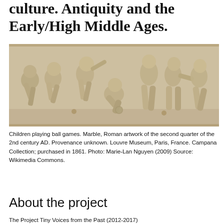culture. Antiquity and the Early/High Middle Ages.
[Figure (photo): Relief sculpture showing children playing ball games. Marble, Roman artwork of the second quarter of the 2nd century AD.]
Children playing ball games. Marble, Roman artwork of the second quarter of the 2nd century AD. Provenance unknown. Louvre Museum, Paris, France. Campana Collection; purchased in 1861. Photo: Marie-Lan Nguyen (2009) Source: Wikimedia Commons.
About the project
The Project Tiny Voices from the Past (2012-2017)